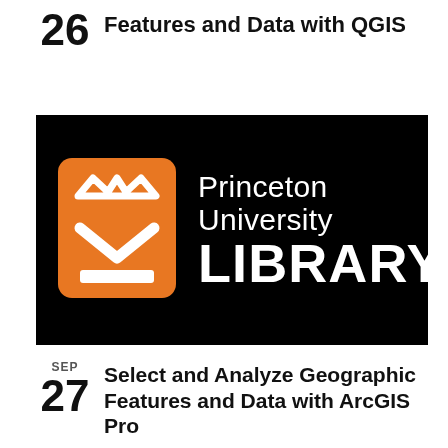26 Features and Data with QGIS
[Figure (logo): Princeton University Library logo: orange rounded-square icon with a crown and open-book chevron symbol, white text reading 'Princeton University LIBRARY' on black background]
SEP 27 Select and Analyze Geographic Features and Data with ArcGIS Pro